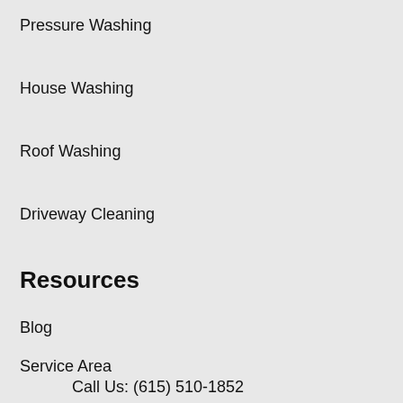Pressure Washing
House Washing
Roof Washing
Driveway Cleaning
Resources
Blog
Service Area
Call Us: (615) 510-1852